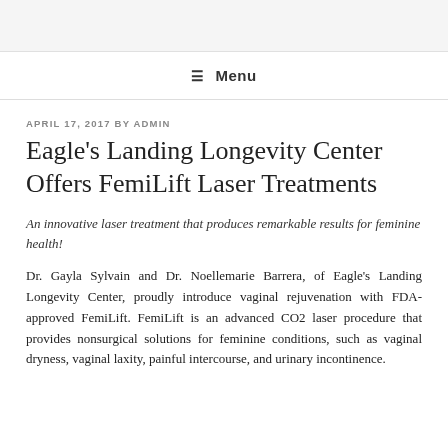≡ Menu
APRIL 17, 2017 BY ADMIN
Eagle's Landing Longevity Center Offers FemiLift Laser Treatments
An innovative laser treatment that produces remarkable results for feminine health!
Dr. Gayla Sylvain and Dr. Noellemarie Barrera, of Eagle's Landing Longevity Center, proudly introduce vaginal rejuvenation with FDA-approved FemiLift. FemiLift is an advanced CO2 laser procedure that provides nonsurgical solutions for feminine conditions, such as vaginal dryness, vaginal laxity, painful intercourse, and urinary incontinence.